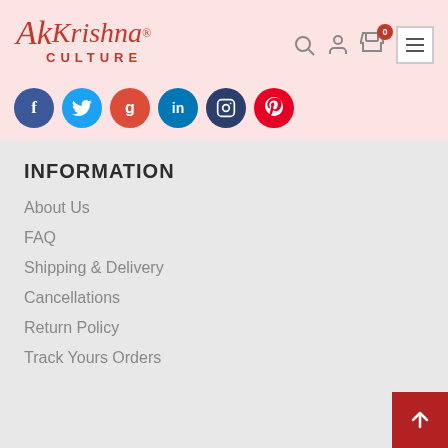[Figure (logo): Krishna Culture logo with stylized 'Ak Krishna' in italic red serif font and 'CULTURE' in bold red spaced capitals below]
[Figure (infographic): Row of social media icons: Facebook (blue), Twitter (blue), Google+ (red), LinkedIn (blue), Instagram (dark blue), Pinterest (red)]
INFORMATION
About Us
FAQ
Shipping & Delivery
Cancellations
Return Policy
Track Yours Orders
MY ACCOUNTS
[Figure (infographic): Currency selector showing Indian flag and INR with dropdown arrow]